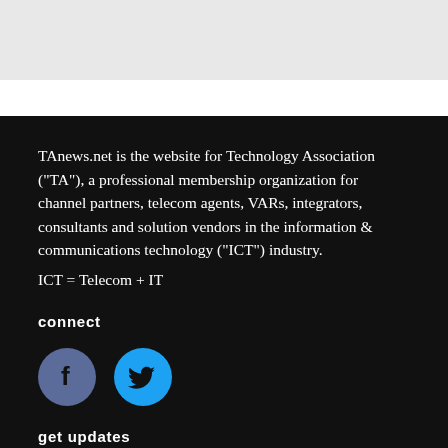[Figure (other): Gray banner/header image area at top of page]
TAnews.net is the website for Technology Association ("TA"), a professional membership organization for channel partners, telecom agents, VARs, integrators, consultants and solution vendors in the information & communications technology ("ICT") industry.
ICT = Telecom + IT
connect
[Figure (illustration): Facebook and Twitter social media icon circles — dark blue/purple Facebook icon with 'f' letter, and cyan/blue Twitter icon with bird logo]
get updates